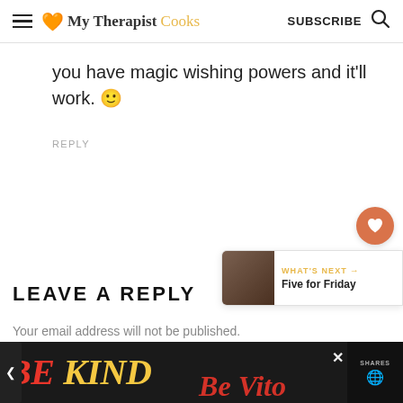My Therapist Cooks | SUBSCRIBE
you have magic wishing powers and it'll work. 🙂
REPLY
LEAVE A REPLY
Your email address will not be published.
[Figure (screenshot): Advertisement banner reading BE KIND with colorful graphics on dark background]